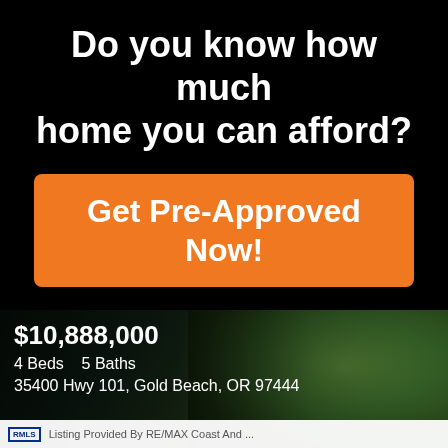Do you know how much home you can afford?
Get Pre-Approved Now!
[Figure (photo): Aerial photo of a coastal property with green hills and a house, overlaid with listing details showing $10,888,000, 4 Beds, 5 Baths, 35400 Hwy 101, Gold Beach, OR 97444]
Listing Provided By RE/MAX Coast And ...